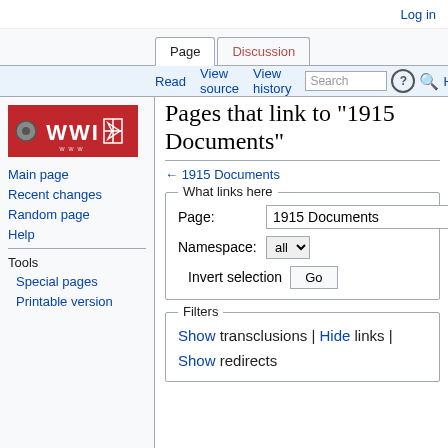Log in
Pages that link to "1915 Documents"
← 1915 Documents
What links here
Page: 1915 Documents
Namespace: all
Invert selection  Go
Filters
Show transclusions | Hide links | Show redirects